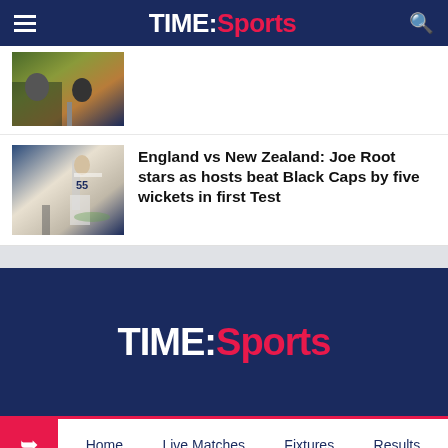TIME:Sports
[Figure (photo): Cricket players on field, India vs another team]
[Figure (photo): Cricket player batting, England vs New Zealand Test match, player wearing number 55]
England vs New Zealand: Joe Root stars as hosts beat Black Caps by five wickets in first Test
[Figure (logo): TIME:Sports logo on dark navy background]
Home  Live Matches  Fixtures  Results